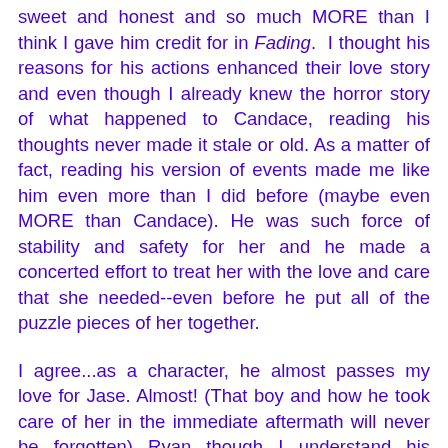sweet and honest and so much MORE than I think I gave him credit for in Fading. I thought his reasons for his actions enhanced their love story and even though I already knew the horror story of what happened to Candace, reading his thoughts never made it stale or old. As a matter of fact, reading his version of events made me like him even more than I did before (maybe even MORE than Candace). He was such force of stability and safety for her and he made a concerted effort to treat her with the love and care that she needed--even before he put all of the puzzle pieces of her together.
I agree...as a character, he almost passes my love for Jase. Almost! (That boy and how he took care of her in the immediate aftermath will never be forgotten) Ryan though...I understand his demons better...and I think seeing his side and thoughts